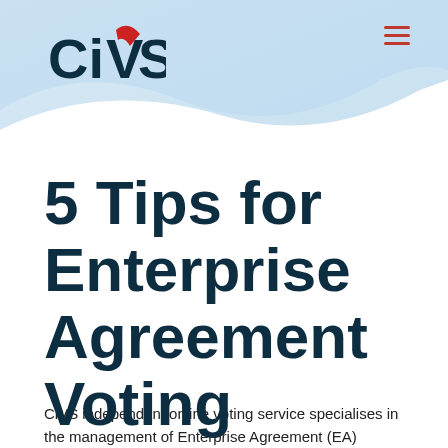[Figure (logo): CiVS logo with red checkmark over the V, dark navy text]
[Figure (other): Hamburger menu icon with three red horizontal lines]
5 Tips for Enterprise Agreement Voting
CiVS independent online voting service specialises in the management of Enterprise Agreement (EA)